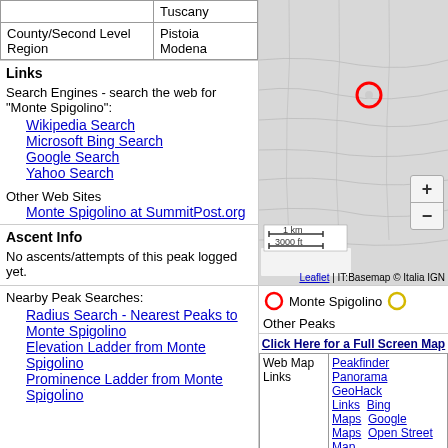|  | Tuscany |
| County/Second Level Region | Pistoia
Modena |
Links
Search Engines - search the web for "Monte Spigolino":
Wikipedia Search
Microsoft Bing Search
Google Search
Yahoo Search
Other Web Sites
Monte Spigolino at SummitPost.org
Ascent Info
No ascents/attempts of this peak logged yet.
Nearby Peak Searches:
Radius Search - Nearest Peaks to Monte Spigolino
Elevation Ladder from Monte Spigolino
Prominence Ladder from Monte Spigolino
[Figure (map): Leaflet map showing Monte Spigolino location marked with red circle marker. Gray topographic background. Scale bar showing 1 km / 3000 ft. IT:Basemap © Italia IGN attribution.]
Monte Spigolino   Other Peaks
Click Here for a Full Screen Map
| Web Map Links |  |
| --- | --- |
| Web Map Links | Peakfinder Panorama GeoHack Links Bing Maps Google Maps Open Street Map |